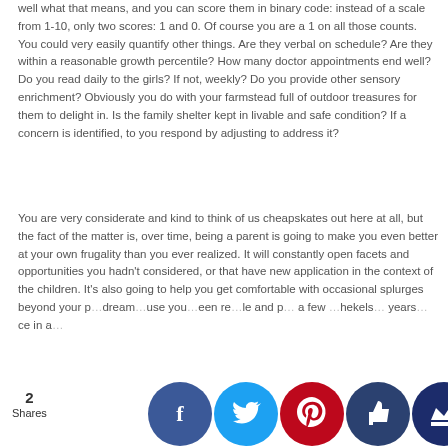well what that means, and you can score them in binary code: instead of a scale from 1-10, only two scores: 1 and 0. Of course you are a 1 on all those counts. You could very easily quantify other things. Are they verbal on schedule? Are they within a reasonable growth percentile? How many doctor appointments end well? Do you read daily to the girls? If not, weekly? Do you provide other sensory enrichment? Obviously you do with your farmstead full of outdoor treasures for them to delight in. Is the family shelter kept in livable and safe condition? If a concern is identified, to you respond by adjusting to address it?
You are very considerate and kind to think of us cheapskates out here at all, but the fact of the matter is, over time, being a parent is going to make you even better at your own frugality than you ever realized. It will constantly open facets and opportunities you hadn't considered, or that have new application in the context of the children. It's also going to help you get comfortable with occasional splurges beyond your p… dream… use you…een re…le and p… a few …hekels… years… ce in a…
2
Shares